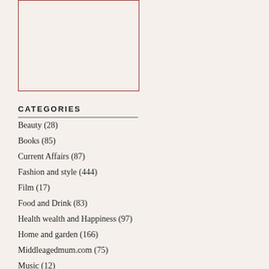[Figure (other): Empty bordered image box with dark red border]
CATEGORIES
Beauty (28)
Books (85)
Current Affairs (87)
Fashion and style (444)
Film (17)
Food and Drink (83)
Health wealth and Happiness (97)
Home and garden (166)
Middleagedmum.com (75)
Music (12)
News and Gossip (9)
Religion (1)
Simple Pleasures (36)
ready to go? Relatives quietly enjoying a... club.
While you wonder what on Earth posses... Christmas day or say 'yes please!' to the... Christmas drinks yesterday evening, take...
You might need a pick-me-up after the fe... down, and with impeccable timing we bri... Jeanne Piaubert Radical Firmness Serum... volunteers to try out this (quite expensive... any good? Well the comments are in! Th... three brave testers Sandy, Steffi and Lin...
From Sandy
"At 46 I now have to brace myself before... delivered the elixir of life on a chilly morn... my box of Jeanne Piaubert's, Radical Fir... cynic/master of sarcasm, I confess I was...
Kick off was not great. I immediately pre... would be trouble, and I was right. I'm no... waiting for it to take out one of my cats o...
The instruction leaflet was almost impos...